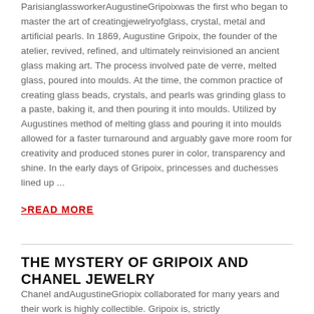Parisian glassworker AugustineGripoixwas the first who began to master the art of creatingjewelryofglass, crystal, metal and artificial pearls. In 1869, Augustine Gripoix, the founder of the atelier, revived, refined, and ultimately reinvisioned an ancient glass making art. The process involved pate de verre, melted glass, poured into moulds. At the time, the common practice of creating glass beads, crystals, and pearls was grinding glass to a paste, baking it, and then pouring it into moulds. Utilized by Augustines method of melting glass and pouring it into moulds allowed for a faster turnaround and arguably gave more room for creativity and produced stones purer in color, transparency and shine. In the early days of Gripoix, princesses and duchesses lined up ...
>READ MORE
THE MYSTERY OF GRIPOIX AND CHANEL JEWELRY
Chanel andAugustineGriopix collaborated for many years and their work is highly collectible. Gripoix is, strictly